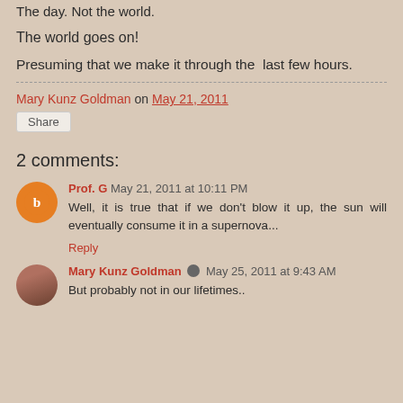The day. Not the world.
The world goes on!
Presuming that we make it through the  last few hours.
Mary Kunz Goldman on May 21, 2011
Share
2 comments:
Prof. G  May 21, 2011 at 10:11 PM
Well, it is true that if we don't blow it up, the sun will eventually consume it in a supernova...
Reply
Mary Kunz Goldman  May 25, 2011 at 9:43 AM
But probably not in our lifetimes..